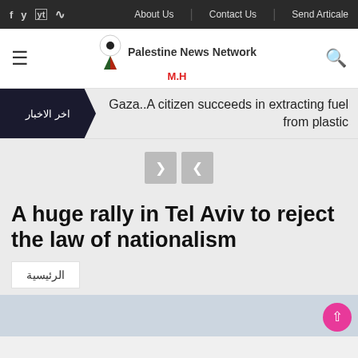f y yt rss | About Us | Contact Us | Send Articale
[Figure (logo): Palestine News Network logo with M.H subtitle and navigation icons (hamburger menu, search)]
اخر الاخبار
Gaza..A citizen succeeds in extracting fuel from plastic
[Figure (infographic): Navigation arrow buttons (next/previous) in grey]
A huge rally in Tel Aviv to reject the law of nationalism
الرئيسية
[Figure (photo): Partial image visible at bottom of page, light blue-grey tones]